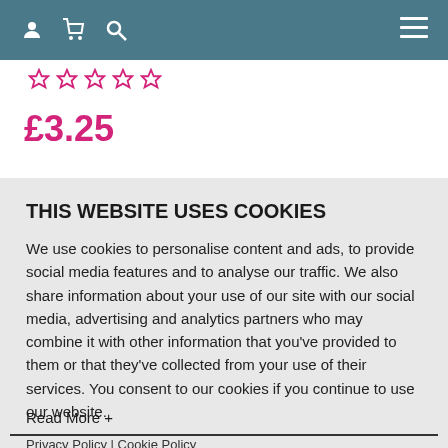[Figure (screenshot): Navigation bar with user icon, basket icon, search icon on the left, and hamburger menu icon on the right, on a teal/blue-grey background]
[Figure (other): Five pink/red star outline icons for rating]
£3.25
THIS WEBSITE USES COOKIES
We use cookies to personalise content and ads, to provide social media features and to analyse our traffic. We also share information about your use of our site with our social media, advertising and analytics partners who may combine it with other information that you've provided to them or that they've collected from your use of their services. You consent to our cookies if you continue to use our website.
Privacy Policy | Cookie Policy
MANAGE COOKIES
ALLOW ALL
Read More +